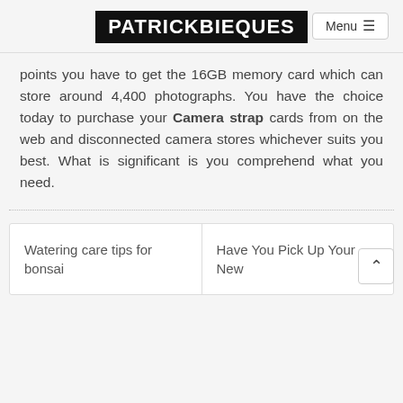PATRICKBIEQUES
points you have to get the 16GB memory card which can store around 4,400 photographs. You have the choice today to purchase your Camera strap cards from on the web and disconnected camera stores whichever suits you best. What is significant is you comprehend what you need.
Watering care tips for bonsai
Have You Pick Up Your New